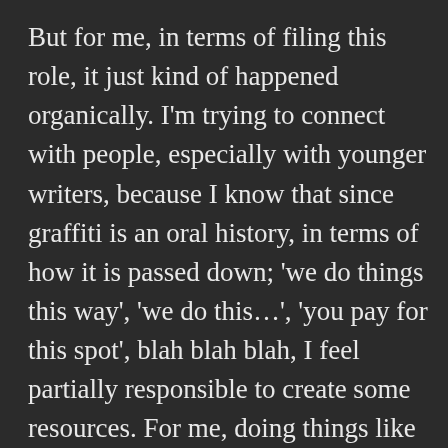But for me, in terms of filing this role, it just kind of happened organically. I'm trying to connect with people, especially with younger writers, because I know that since graffiti is an oral history, in terms of how it is passed down; 'we do things this way', 'we do this…', 'you pay for this spot', blah blah blah, I feel partially responsible to create some resources. For me, doing things like workshops or doing a web series, helps to create resources which then can help other people to do or take certain trajectories, to do different things. For example, Wongi has gone down the graffiti route and now he's gone down this sort of business route, where he is making a living